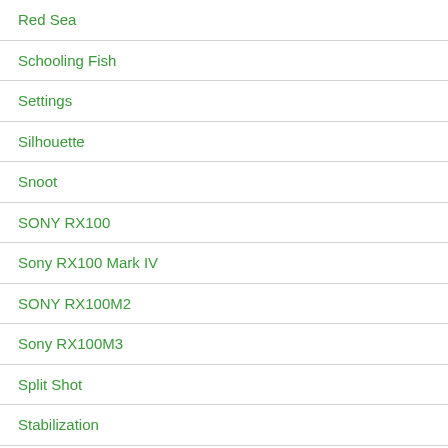Red Sea
Schooling Fish
Settings
Silhouette
Snoot
SONY RX100
Sony RX100 Mark IV
SONY RX100M2
Sony RX100M3
Split Shot
Stabilization
Strobe
Sunbursts